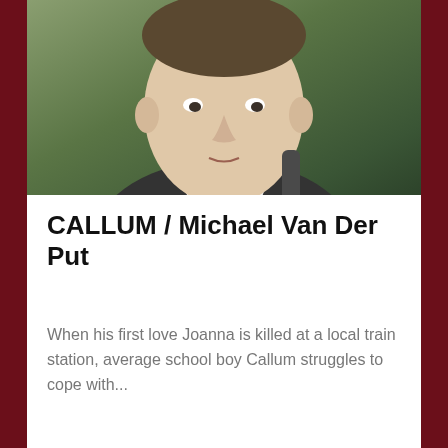[Figure (photo): Close-up photo of a young man in a school uniform (white shirt, dark jacket, dark tie) looking downward against a green outdoor background]
CALLUM / Michael Van Der Put
When his first love Joanna is killed at a local train station, average school boy Callum struggles to cope with...
Continue reading...
January 22, 2014
[Figure (screenshot): Bottom navigation bar with Menu button and partial images on either side]